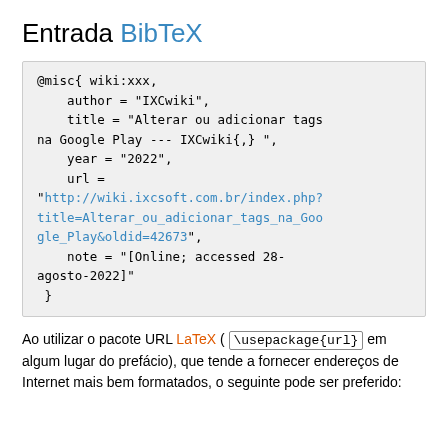Entrada BibTeX
@misc{ wiki:xxx,
    author = "IXCwiki",
    title = "Alterar ou adicionar tags na Google Play --- IXCwiki{,} ",
    year = "2022",
    url =
"http://wiki.ixcsoft.com.br/index.php?title=Alterar_ou_adicionar_tags_na_Google_Play&oldid=42673",
    note = "[Online; accessed 28-agosto-2022]"
 }
Ao utilizar o pacote URL LaTeX ( \usepackage{url} em algum lugar do prefácio), que tende a fornecer endereços de Internet mais bem formatados, o seguinte pode ser preferido: